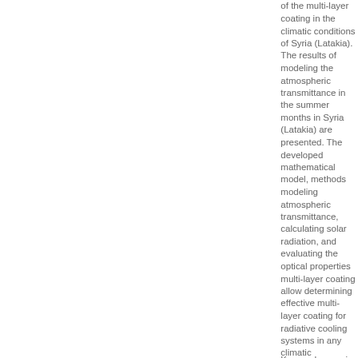of the multi-layer coating in the climatic conditions of Syria (Latakia). The results of modeling the atmospheric transmittance in the summer months in Syria (Latakia) are presented. The developed mathematical model, methods modeling atmospheric transmittance, calculating solar radiation, and evaluating the optical properties multi-layer coating allow determining effective multi-layer coating for radiative cooling systems in any climatic conditions.
Keywords: passi